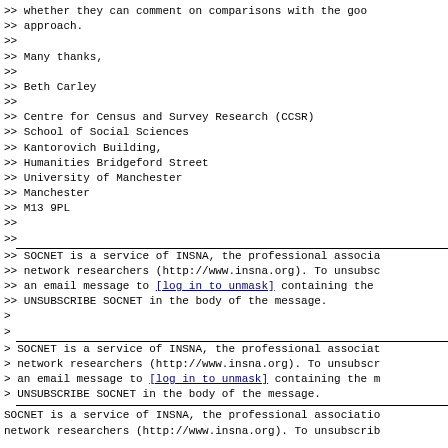>> whether they can comment on comparisons with the good
>> approach.
>>
>> Many thanks,
>>
>> Beth Carley
>>
>> Centre for Census and Survey Research (CCSR)
>> School of Social Sciences
>> Kantorovich Building,
>> Humanities Bridgeford Street
>> University of Manchester
>> Manchester
>> M13 9PL
>>
>>
>> SOCNET is a service of INSNA, the professional associa
>> network researchers (http://www.insna.org). To unsubsc
>> an email message to [log in to unmask] containing the
>> UNSUBSCRIBE SOCNET in the body of the message.
>
>
> SOCNET is a service of INSNA, the professional associat
> network researchers (http://www.insna.org). To unsubscr
> an email message to [log in to unmask] containing the m
> UNSUBSCRIBE SOCNET in the body of the message.
SOCNET is a service of INSNA, the professional associatio
network researchers (http://www.insna.org). To unsubscrib